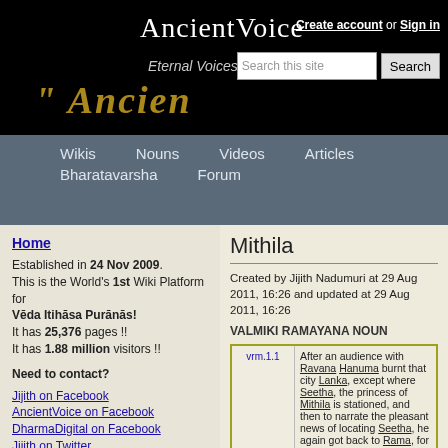AncientVoice — Create account or Sign in
[Figure (screenshot): AncientVoice website header with dark background, site title, search box, and decorative golden script]
Wikis | Nouns | Videos | Articles | Bharatavarsha | Forum
Home
Established in 24 Nov 2009. This is the World's 1st Wiki Platform for Vēda Itihāsa Purānās! It has 25,376 pages !! It has 1.88 million visitors !!
Need to contact?
Jijith on Facebook
AncientVoice on Facebook
DharmaDigital on Facebook
Jijith on Twitter
jijithnrartist@gmail.com
jijithnr@gmail.com
Mithila
Created by Jijith Nadumuri at 29 Aug 2011, 16:26 and updated at 29 Aug 2011, 16:26
VALMIKI RAMAYANA NOUN
| Reference | Text |
| --- | --- |
| vrm.1.1 | After an audience with Ravana Hanuma burnt that city Lanka, except where Seetha, the princess of Mithila is stationed, and then to narrate the pleasant news of locating Seetha, he again got back to Rama, for he is a great Vanara. |
| vrm.1.13 | b, a "You personally invite Janaka the king of Mithila, a valiant one and an advocate of truth, honouring his well and duly bearing in mind that he |